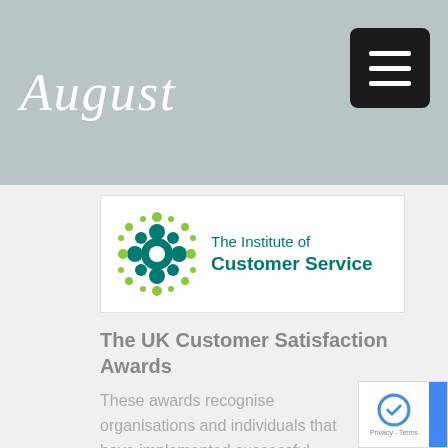August
[Figure (logo): The Institute of Customer Service logo — green circular pattern of dots and shapes on left, teal text 'The Institute of Customer Service' on right]
The UK Customer Satisfaction Awards
These awards recognise organisations and individuals that have implemented successful